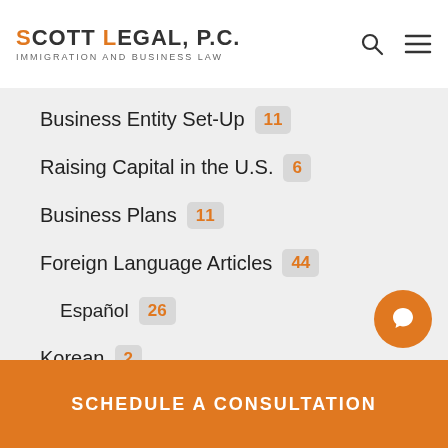SCOTT LEGAL, P.C. IMMIGRATION AND BUSINESS LAW
Business Entity Set-Up 11
Raising Capital in the U.S. 6
Business Plans 11
Foreign Language Articles 44
Español 26
Korean 2
Immigration 2,155
Approvals 636
Canadian Immigration 9
SCHEDULE A CONSULTATION